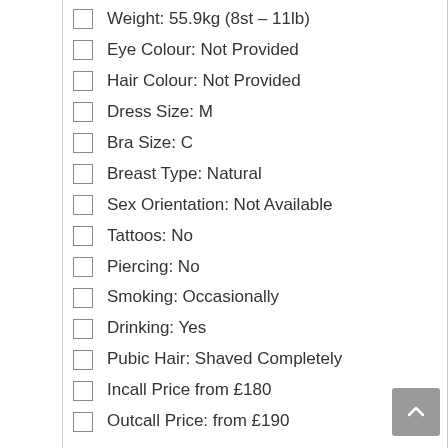Weight: 55.9kg (8st – 11lb)
Eye Colour: Not Provided
Hair Colour: Not Provided
Dress Size: M
Bra Size: C
Breast Type: Natural
Sex Orientation: Not Available
Tattoos: No
Piercing: No
Smoking: Occasionally
Drinking: Yes
Pubic Hair: Shaved Completely
Incall Price from £180
Outcall Price: from £190